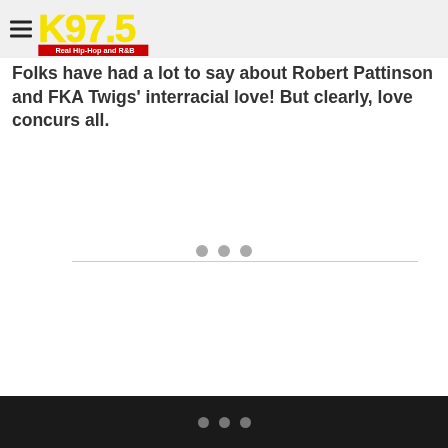K97.5 Real Hip-Hop and R&B
Folks have had a lot to say about Robert Pattinson and FKA Twigs' interracial love! But clearly, love concurs all.
[Figure (other): Three grey loading dots with a horizontal divider line below]
Three grey dots on dark background bar